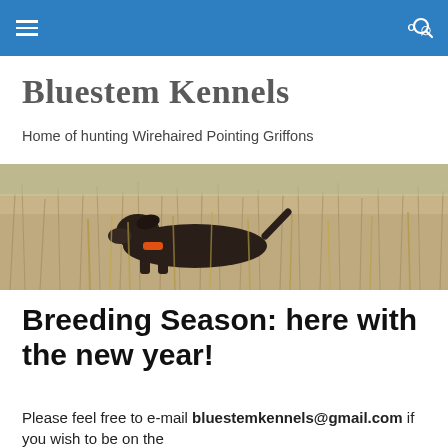Bluestem Kennels — navigation bar
Bluestem Kennels
Home of hunting Wirehaired Pointing Griffons
[Figure (photo): A dark brown Wirehaired Pointing Griffon dog wearing an orange collar, pointing in tall dry grass/reeds in a field.]
Breeding Season: here with the new year!
Please feel free to e-mail bluestemkennels@gmail.com if you wish to be on the